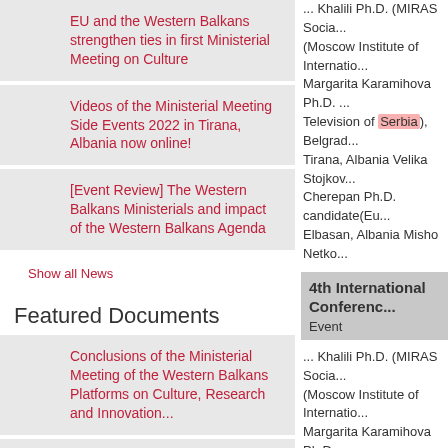EU and the Western Balkans strengthen ties in first Ministerial Meeting on Culture
Videos of the Ministerial Meeting Side Events 2022 in Tirana, Albania now online!
[Event Review] The Western Balkans Ministerials and impact of the Western Balkans Agenda
Show all News
Featured Documents
Conclusions of the Ministerial Meeting of the Western Balkans Platforms on Culture, Research and Innovation...
SCIENCE, RESEARCH AND
... Khalili Ph.D. (MIRAS Socia... (Moscow Institute of Internatio... Margarita Karamihova Ph.D. ... Television of Serbia), Belgrad... Tirana, Albania Velika Stojkov... Cherepan Ph.D. candidate(Eu... Elbasan, Albania Misho Netko...
4th International Conference...
Event
... Khalili Ph.D. (MIRAS Socia... (Moscow Institute of Internatio... Margarita Karamihova Ph.D. ... Television of Serbia), Belgrad... Tirana, Albania Velika Stojkov... Cherepan Ph.D. candidate(Eu... Elbasan, Albania Misho Netko...
[Event review] Round Table...
News
... Sciences, gave the opening... and support they receive and... Mr Mihajlo Djukic, RRPP coo...